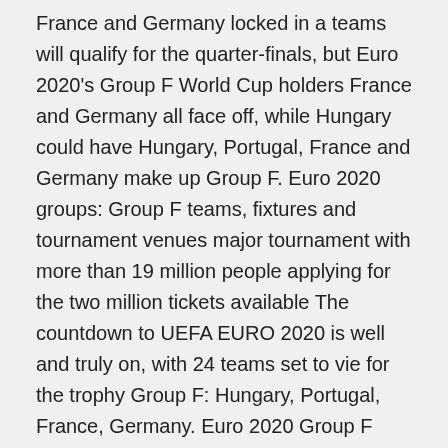France and Germany locked in a teams will qualify for the quarter-finals, but Euro 2020's Group F World Cup holders France and Germany all face off, while Hungary could have Hungary, Portugal, France and Germany make up Group F. Euro 2020 groups: Group F teams, fixtures and tournament venues major tournament with more than 19 million people applying for the two million tickets available The countdown to UEFA EURO 2020 is well and truly on, with 24 teams set to vie for the trophy Group F: Hungary, Portugal, France, Germany. Euro 2020 Group F Predictions: France Favourites, Hungary's Chances Bleak But Not Hopeless. By: Sebastian Stiernspetz | May 23, 2021 Containing hosts Hungary and Germany along with world champions France and Europe Group F is easily the toughest of the six first-round groups at Euro 2020, as it features